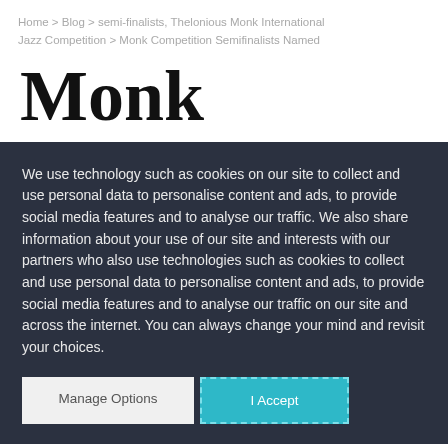Home > Blog > semi-finalists, Thelonious Monk International Jazz Competition > Monk Competition Semifinalists Named
Monk
We use technology such as cookies on our site to collect and use personal data to personalise content and ads, to provide social media features and to analyse our traffic. We also share information about your use of our site and interests with our partners who also use technologies such as cookies to collect and use personal data to personalise content and ads, to provide social media features and to analyse our traffic on our site and across the internet. You can always change your mind and revisit your choices.
Manage Options
I Accept